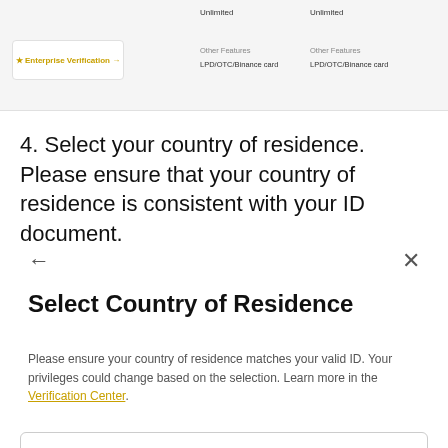[Figure (screenshot): Top section showing a pricing table fragment with 'Unlimited' columns and 'Other Features: LPD/OTC/Binance card' rows, plus an Enterprise Verification button]
4. Select your country of residence. Please ensure that your country of residence is consistent with your ID document.
← ×
Select Country of Residence
Please ensure your country of residence matches your valid ID. Your privileges could change based on the selection. Learn more in the Verification Center.